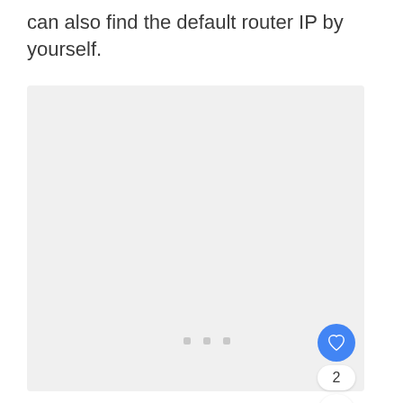can also find the default router IP by yourself.
[Figure (screenshot): A large light gray placeholder image area, partially visible, with three small gray loading indicator squares in the center area. On the right side there is a blue heart/like button, a count of 2, and a share button.]